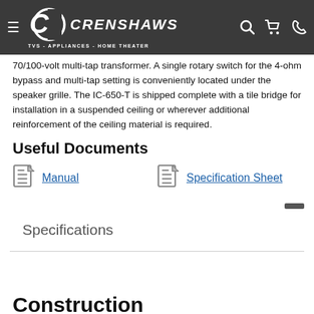CRENSHAWS TVS - APPLIANCES - HOME THEATER
70/100-volt multi-tap transformer. A single rotary switch for the 4-ohm bypass and multi-tap setting is conveniently located under the speaker grille. The IC-650-T is shipped complete with a tile bridge for installation in a suspended ceiling or wherever additional reinforcement of the ceiling material is required.
Useful Documents
Manual
Specification Sheet
Specifications
Construction